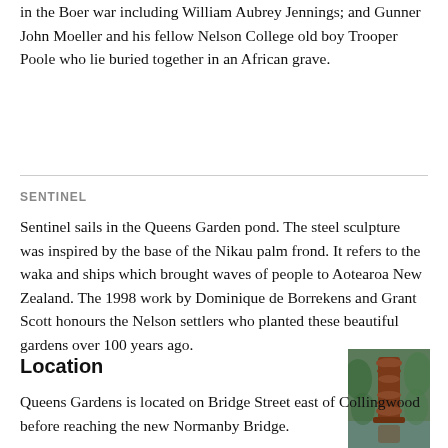in the Boer war including William Aubrey Jennings; and Gunner John Moeller and his fellow Nelson College old boy Trooper Poole who lie buried together in an African grave.
SENTINEL
Sentinel sails in the Queens Garden pond. The steel sculpture was inspired by the base of the Nikau palm frond. It refers to the waka and ships which brought waves of people to Aotearoa New Zealand. The 1998 work by Dominique de Borrekens and Grant Scott honours the Nelson settlers who planted these beautiful gardens over 100 years ago.
Location
[Figure (photo): Photo of the Sentinel sculpture, a tall reddish-brown sculptural form resembling stacked fronds or a tower, reflected in water, surrounded by green foliage.]
Queens Gardens is located on Bridge Street east of Collingwood before reaching the new Normanby Bridge.